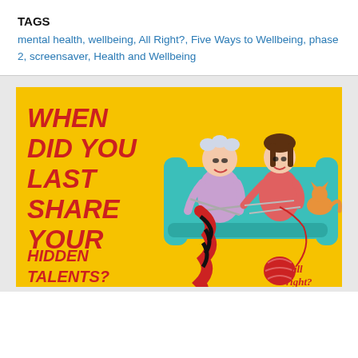TAGS
mental health, wellbeing, All Right?, Five Ways to Wellbeing, phase 2, screensaver, Health and Wellbeing
[Figure (illustration): Yellow background illustration with bold red text reading 'WHEN DID YOU LAST SHARE YOUR HIDDEN TALENTS?' with cartoon characters of an elderly woman and a young girl sitting on a teal couch knitting together, a cat playing with yarn, and an 'all right?' logo in the bottom right corner.]